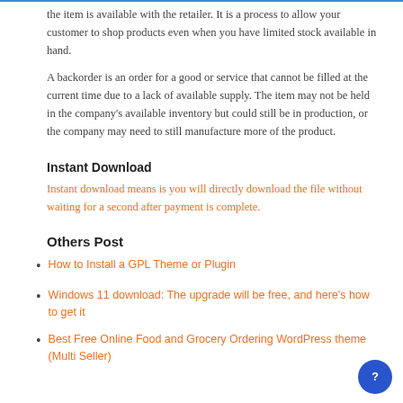the item is available with the retailer. It is a process to allow your customer to shop products even when you have limited stock available in hand.
A backorder is an order for a good or service that cannot be filled at the current time due to a lack of available supply. The item may not be held in the company's available inventory but could still be in production, or the company may need to still manufacture more of the product.
Instant Download
Instant download means is you will directly download the file without waiting for a second after payment is complete.
Others Post
How to Install a GPL Theme or Plugin
Windows 11 download: The upgrade will be free, and here's how to get it
Best Free Online Food and Grocery Ordering WordPress theme (Multi Seller)